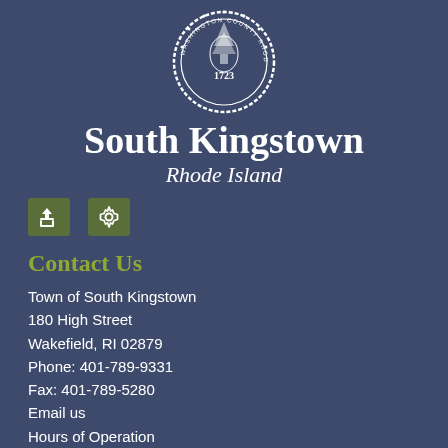[Figure (logo): South Kingstown Rhode Island town seal, circular emblem dated 1723, Washington County Rhode Island]
South Kingstown
Rhode Island
[Figure (other): Two green icon buttons: a share/export icon and a settings/gear icon]
Contact Us
Town of South Kingstown
180 High Street
Wakefield, RI 02879
Phone: 401-789-9331
Fax: 401-789-5280
Email us
Hours of Operation
Quick Links